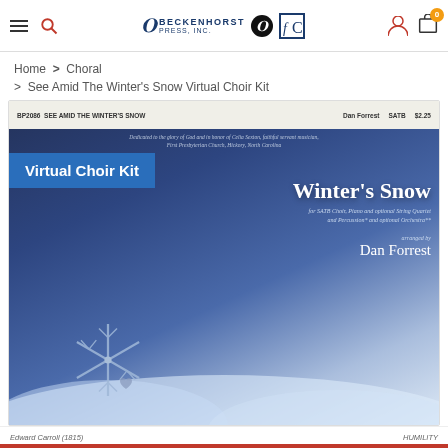Beckenhorst Press Inc. navigation header with hamburger menu, search, logo, account, and cart icons
Home > Choral
> See Amid The Winter's Snow Virtual Choir Kit
[Figure (screenshot): Product page image showing sheet music cover for 'See Amid The Winter's Snow' arranged by Dan Forrest. Cover shows BP2086, SATB, $2.25. Blue background with snowflake photography. 'Virtual Choir Kit' badge overlaid in blue.]